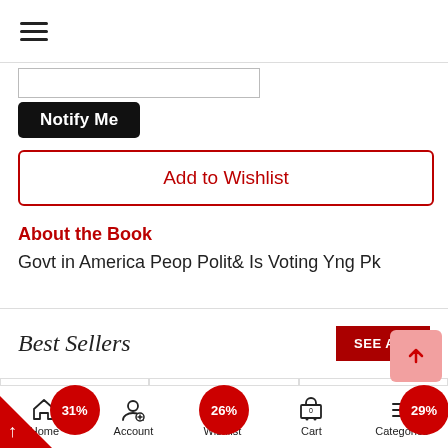[Figure (screenshot): Hamburger menu icon (three horizontal lines) in top left of app header]
[Figure (screenshot): Text input box (empty) for email/notification entry]
Notify Me
Add to Wishlist
About the Book
Govt in America Peop Polit& Is Voting Yng Pk
Best Sellers
SEE ALL
[Figure (screenshot): Product card with 31% discount badge (red circle)]
[Figure (screenshot): Product card with 26% discount badge (red circle)]
[Figure (screenshot): Product card with 29% discount badge (red circle)]
Home  Account  Wishlist  Cart  Categories